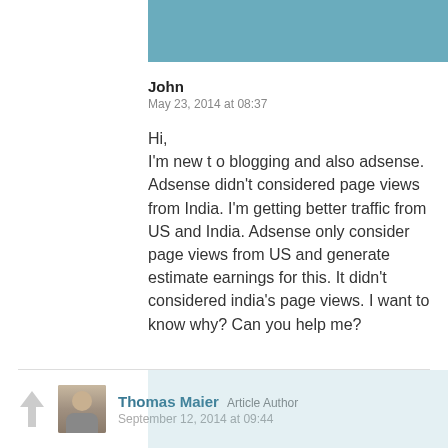[Figure (other): Teal/blue decorative header bar at top right of page]
John
May 23, 2014 at 08:37
Hi,
I'm new t o blogging and also adsense. Adsense didn't considered page views from India. I'm getting better traffic from US and India. Adsense only consider page views from US and generate estimate earnings for this. It didn't considered india's page views. I want to know why? Can you help me?
Thomas Maier   Article Author
September 12, 2014 at 09:44